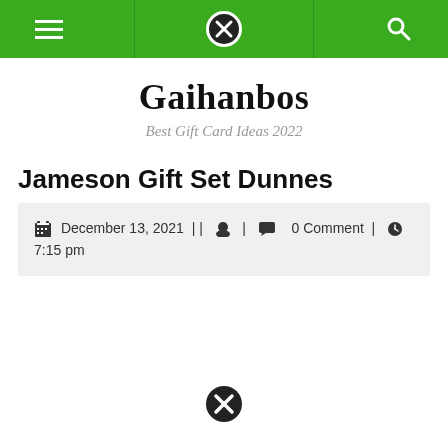[Figure (screenshot): Green navigation bar with hamburger menu icon, circle-X logo icon, and search icon]
Gaihanbos
Best Gift Card Ideas 2022
Jameson Gift Set Dunnes
December 13, 2021 | | [user icon] | [comment icon] 0 Comment | [clock icon] 7:15 pm
[Figure (logo): Circle X icon at bottom center]